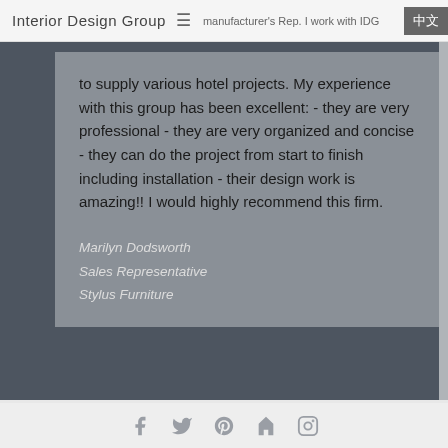Interior Design Group  ≡  manufacturer's Rep. I work with IDG  中文
to supply various hotel projects. My experience with this group has been excellent: - they are very professional - they are very organized and concise - they can do the project from start to finish including installation - their design work is amazing!! I would highly recommend this firm.
Marilyn Dodsworth
Sales Representative
Stylus Furniture
LEAVE A REPLY
Your email address will not be published.
Social icons: Facebook, Twitter, Pinterest, Houzz, Instagram